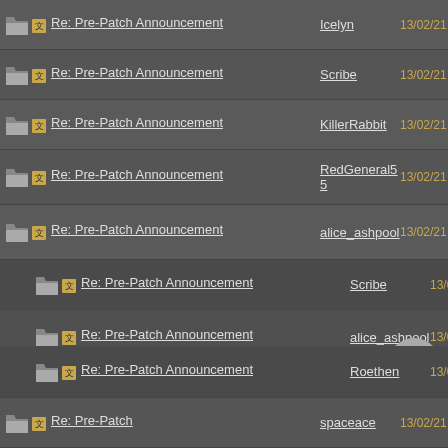Re: Pre-Patch Announcement | Icelyn | 13/02/21 03:06 PM
Re: Pre-Patch Announcement | Scribe | 13/02/21 04:53 PM
Re: Pre-Patch Announcement | KillerRabbit | 13/02/21 05:38 PM
Re: Pre-Patch Announcement | RedGeneral55 | 13/02/21 06:57 PM
Re: Pre-Patch Announcement | alice_ashpool | 13/02/21 08:26 PM
Re: Pre-Patch Announcement | Scribe | 13/02/21 08:52 PM
Re: Pre-Patch Announcement | alice_ashpool | 13/02/21 08:58 PM
Re: Pre-Patch Announcement | booboo | 13/02/21 09:27 PM
Re: Pre-Patch Announcement | Roethen | 13/02/21 11:__ PM
Re: Pre-Patch Announcement | spaceace | 13/02/21 09:46 PM